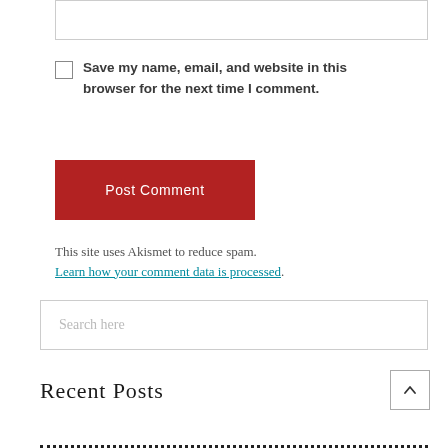[input box]
Save my name, email, and website in this browser for the next time I comment.
Post Comment
This site uses Akismet to reduce spam. Learn how your comment data is processed.
Search here
Recent Posts